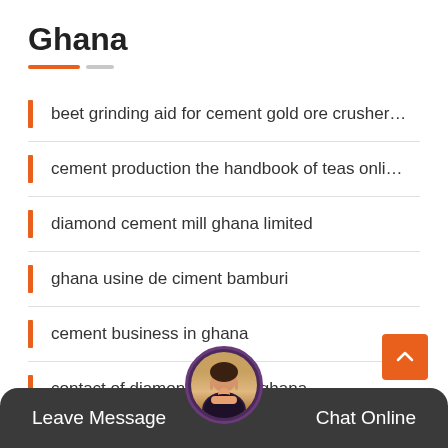Ghana
beet grinding aid for cement gold ore crusher…
cement production the handbook of teas onli…
diamond cement mill ghana limited
ghana usine de ciment bamburi
cement business in ghana
contact of diamond cement ghana
52 cement brick practice ch an oni…
Leave Message   Chat Online